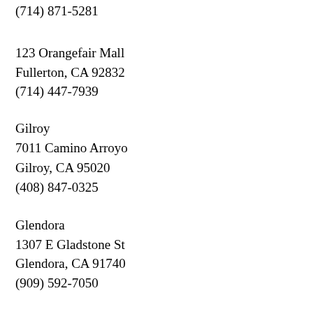(714) 871-5281
123 Orangefair Mall
Fullerton, CA 92832
(714) 447-7939
Gilroy
7011 Camino Arroyo
Gilroy, CA 95020
(408) 847-0325
Glendora
1307 E Gladstone St
Glendora, CA 91740
(909) 592-7050